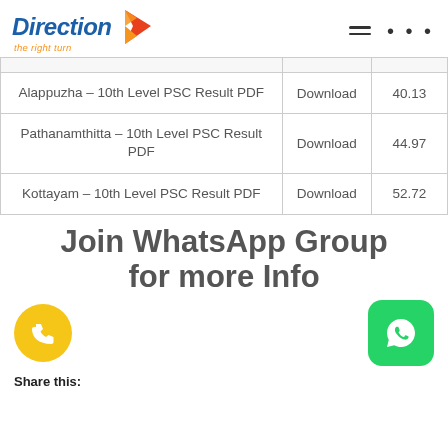[Figure (logo): Direction 'the right turn' logo with orange flame/arrow graphic and blue italic text]
|  | Download |  |
| --- | --- | --- |
| Alappuzha – 10th Level PSC Result PDF | Download | 40.13 |
| Pathanamthitta – 10th Level PSC Result PDF | Download | 44.97 |
| Kottayam – 10th Level PSC Result PDF | Download | 52.72 |
Join WhatsApp Group for more Info
Share this: